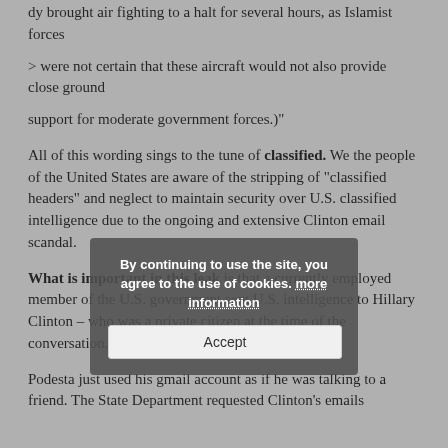dy brought air fighting to a halt for several hours, as Islamist forces
> were not certain that these aircraft would not also provide close ground
support for moderate government forces.)"
All of this wording sings to the tune of classified. We the people of the United States are aware of the stripping of “classified headers” and neglect to maintain security over U.S. classified intelligence due to the ongoing and extensive Clinton email scandal.
What is important in this leak is that a currently employed member of the U.S. government sent U.S. intelligence to Hillary Clinton – who was a private citizen at the time of the conversation.
Podesta just used his gmail account as if he was talking to a friend. The State Department requested Clinton’s emails